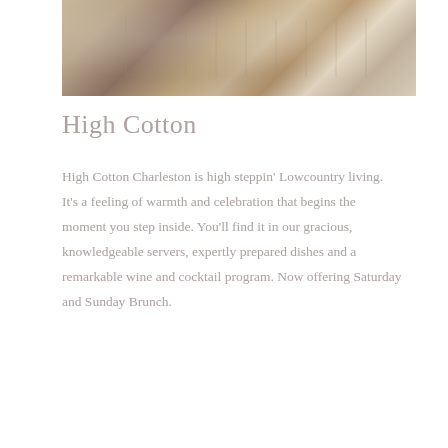[Figure (photo): Interior of High Cotton restaurant showing dining room with white tablecloths, dark wood chairs, and elegant table settings]
High Cotton
High Cotton Charleston is high steppin' Lowcountry living. It's a feeling of warmth and celebration that begins the moment you step inside. You'll find it in our gracious, knowledgeable servers, expertly prepared dishes and a remarkable wine and cocktail program. Now offering Saturday and Sunday Brunch.